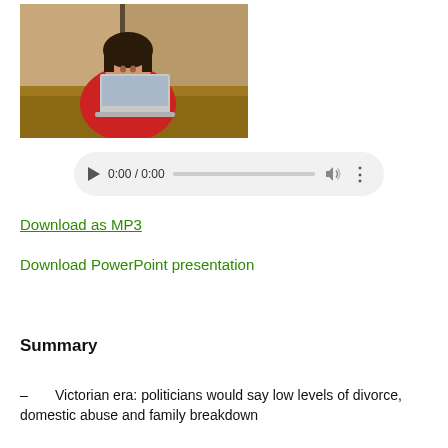[Figure (screenshot): Video thumbnail showing a woman in a red top speaking at a lectern with a laptop, in a conference/lecture setting.]
[Figure (screenshot): Audio player UI showing play button, time 0:00 / 0:00, progress bar, volume icon, and more options icon on a light grey pill-shaped background.]
Download as MP3
Download PowerPoint presentation
Summary
– Victorian era: politicians would say low levels of divorce, domestic abuse and family breakdown